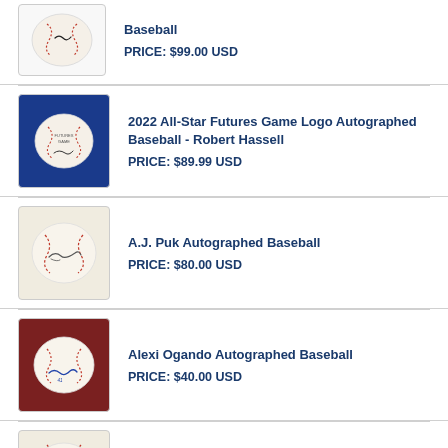[Figure (photo): Autographed baseball with signature, white background]
Baseball
PRICE: $99.00 USD
[Figure (photo): 2022 All-Star Futures Game Logo autographed baseball on blue background]
2022 All-Star Futures Game Logo Autographed Baseball - Robert Hassell
PRICE: $89.99 USD
[Figure (photo): Autographed baseball with signature on white background]
A.J. Puk Autographed Baseball
PRICE: $80.00 USD
[Figure (photo): Autographed baseball with signature on dark red/maroon background]
Alexi Ogando Autographed Baseball
PRICE: $40.00 USD
[Figure (photo): Partial view of another autographed baseball listing]